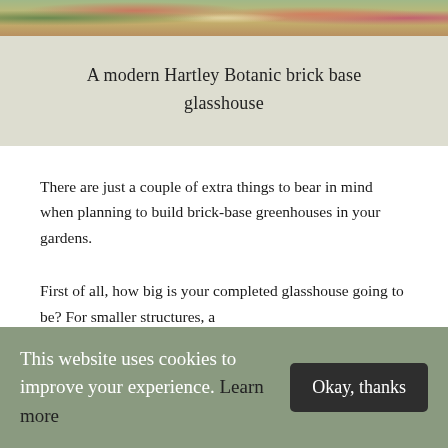[Figure (photo): Top strip showing a garden scene with flowers, plants, and greenhouse structures in the background]
A modern Hartley Botanic brick base glasshouse
There are just a couple of extra things to bear in mind when planning to build brick-base greenhouses in your gardens.
First of all, how big is your completed glasshouse going to be? For smaller structures, a
This website uses cookies to improve your experience. Learn more
Okay, thanks